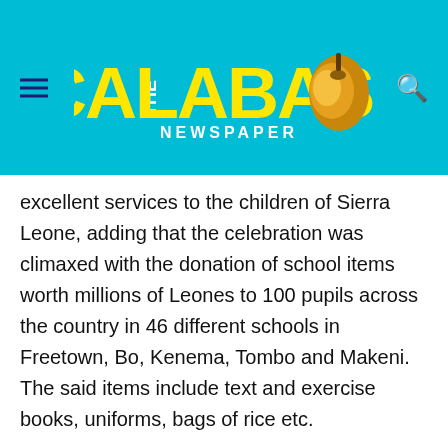The Calabash Newspaper
excellent services to the children of Sierra Leone, adding that the celebration was climaxed with the donation of school items worth millions of Leones to 100 pupils across the country in 46 different schools in Freetown, Bo, Kenema, Tombo and Makeni. The said items include text and exercise books, uniforms, bags of rice etc.
He reaffirmed their commitment to the development of children in the country stating how Angels to Angels is striving to help break the cycle of poverty through education that provides opportunities for a better future for girls. Sankoh stated that they seek to empower girls by providing them with educational scholarships saying they have been doing so for the past years.